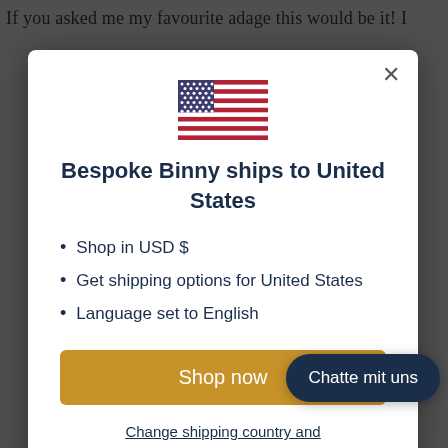If you asked me my favourite adage this would be it! I
[Figure (screenshot): Modal dialog showing US flag, heading 'Bespoke Binny ships to United States', bullet points about USD, shipping options, language, a gold 'Shop now' button, and a 'Change shipping country and...' link. A dark 'Chatte mit uns' chat button overlaps the bottom right.]
Bespoke Binny ships to United States
Shop in USD $
Get shipping options for United States
Language set to English
Shop now
Change shipping country and
Chatte mit uns